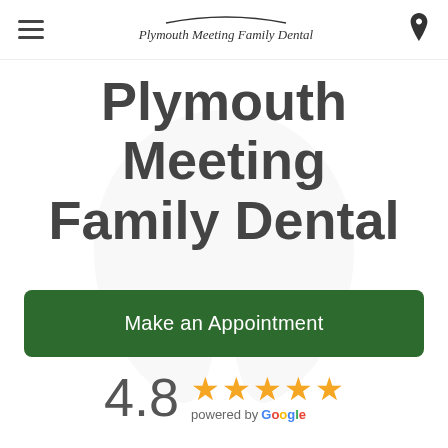Plymouth Meeting Family Dental
Plymouth Meeting Family Dental
Make an Appointment
4.8 ★★★★★ powered by Google